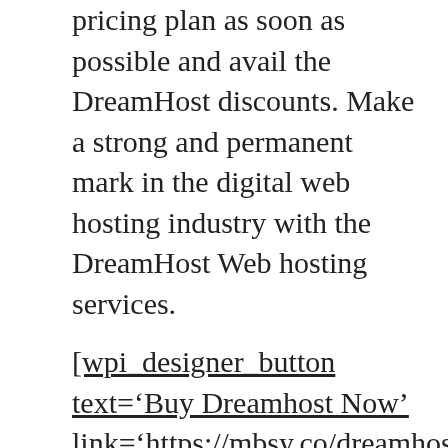pricing plan as soon as possible and avail the DreamHost discounts. Make a strong and permanent mark in the digital web hosting industry with the DreamHost Web hosting services.
[wpi_designer_button text='Buy Dreamhost Now' link='https://mbsy.co/dreamhost/86186969' style_id='509' target='_blank']
Share this:
Twitter  Facebook
Like this:
Loading